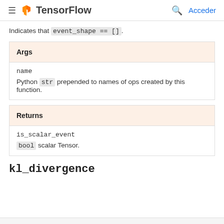TensorFlow — Acceder
Indicates that event_shape == [].
| Args |
| --- |
| name | Python str prepended to names of ops created by this function. |
| Returns |
| --- |
| is_scalar_event | bool scalar Tensor. |
kl_divergence